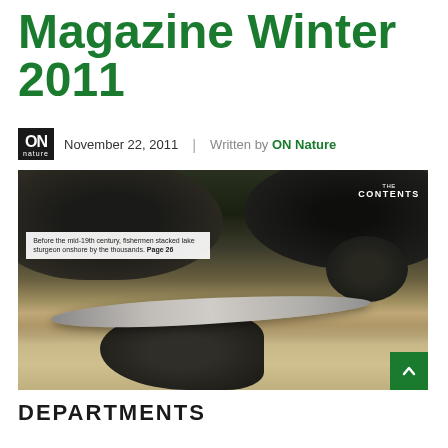Magazine Winter 2011
November 22, 2011 | Written by ON Nature
[Figure (photo): Underwater photo of lake sturgeon swimming among dark rocks and sandy bottom in an aquarium or natural habitat. A white caption box overlay reads: Before the mid-19th century, fishermen stacked lake sturgeon onshore by the thousands. Page 26. A 'CONTENTS' label appears in the upper right corner. A green arrow button is in the lower right corner.]
DEPARTMENTS